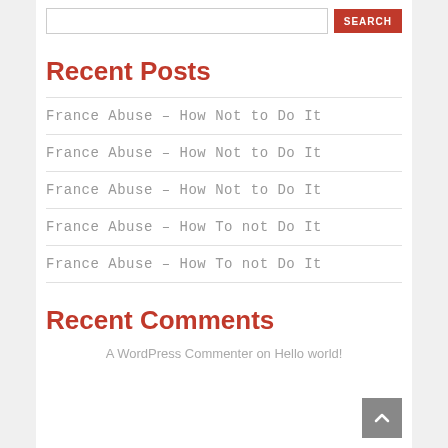Recent Posts
France Abuse – How Not to Do It
France Abuse – How Not to Do It
France Abuse – How Not to Do It
France Abuse – How To not Do It
France Abuse – How To not Do It
Recent Comments
A WordPress Commenter on Hello world!